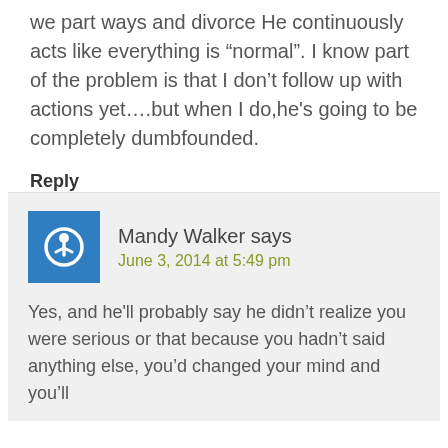we part ways and divorce He continuously acts like everything is “normal”. I know part of the problem is that I don’t follow up with actions yet….but when I do,he's going to be completely dumbfounded.
Reply
Mandy Walker says
June 3, 2014 at 5:49 pm
Yes, and he'll probably say he didn’t realize you were serious or that because you hadn’t said anything else, you’d changed your mind and you’ll